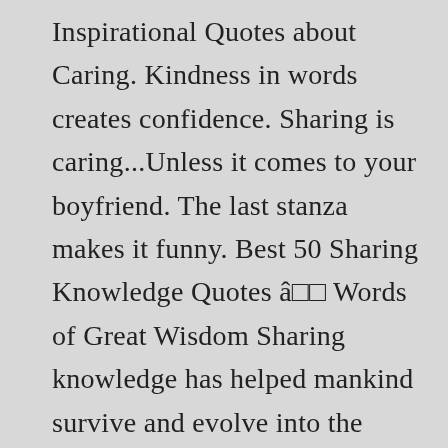Inspirational Quotes about Caring. Kindness in words creates confidence. Sharing is caring...Unless it comes to your boyfriend. The last stanza makes it funny. Best 50 Sharing Knowledge Quotes â□□ Words of Great Wisdom Sharing knowledge has helped mankind survive and evolve into the intelligent and productive species he is today. Even just caring for somebody is already heroic so go on and become a hero for someone. Fuck everyone else! Foster Care Quotes . Being selfish is part of human nature but don't allow it to push those you love away. Sharing can change the world; the smallest act of caring has the potential to turn a life